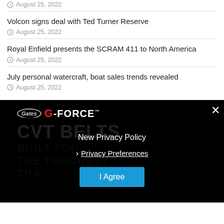August 25, 2022
Volcon signs deal with Ted Turner Reserve
August 25, 2022
Royal Enfield presents the SCRAM 411 to North America
August 25, 2022
July personal watercraft, boat sales trends revealed
August 25, 2022
[Figure (screenshot): Gates G-Force CVT Belts advertisement on black background with text 'CVT BELTS BUILT FOR THE TOUGHEST TRA...' with a privacy policy overlay modal containing 'New Privacy Policy', 'Privacy Preferences' link, 'I Agree' button, and an X close button.]